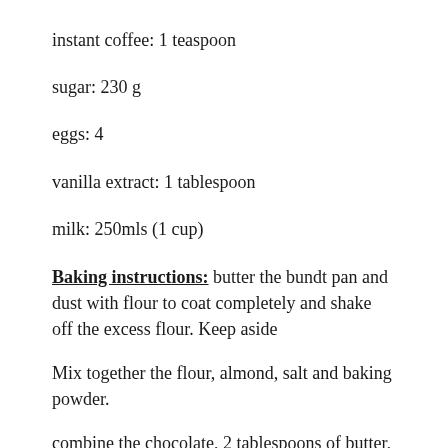instant coffee: 1 teaspoon
sugar: 230 g
eggs: 4
vanilla extract: 1 tablespoon
milk: 250mls (1 cup)
Baking instructions:  butter the bundt pan and dust with flour to coat completely and shake off the excess flour. Keep aside
Mix together the flour, almond, salt and baking powder.
combine the chocolate, 2 tablespoons of butter, instant coffee and coffee and melt in a microwave. I did in 30